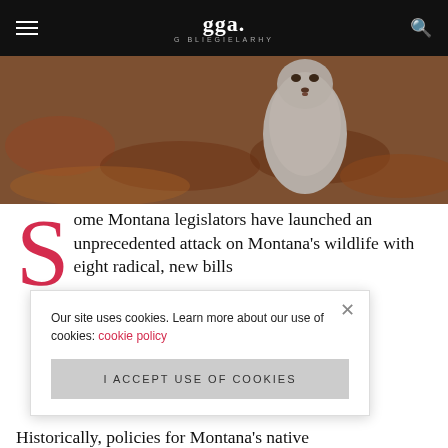gga. G BLIEGIELARHY
[Figure (photo): Close-up photo of a wild animal (possibly a marmot or groundhog) with blurred autumn leaf-covered ground background]
Some Montana legislators have launched an unprecedented attack on Montana's wildlife with eight radical, new bills targeting native [wildlife including black bears] and would damage the
Our site uses cookies. Learn more about our use of cookies: cookie policy
I ACCEPT USE OF COOKIES
Historically, policies for Montana's native